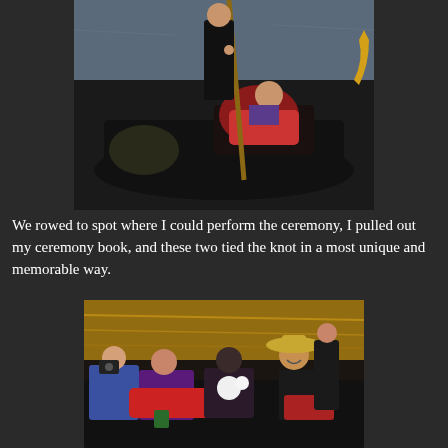[Figure (photo): A gondola on water with a gondolier in black standing at the back with an oar, and a seated passenger wearing a red patterned blanket and purple top, seen from above/behind. The gondola interior has decorative items.]
We rowed to spot where I could perform the ceremony, I pulled out my ceremony book, and these two tied the knot in a most unique and memorable way.
[Figure (photo): A gondola on golden-reflecting water with three people: a woman in blue on the left taking a photo, a man in purple/red blanket reclining, a woman with dark hair holding flowers in the middle, and a smiling man in a straw hat on the right. The gondolier stands behind.]